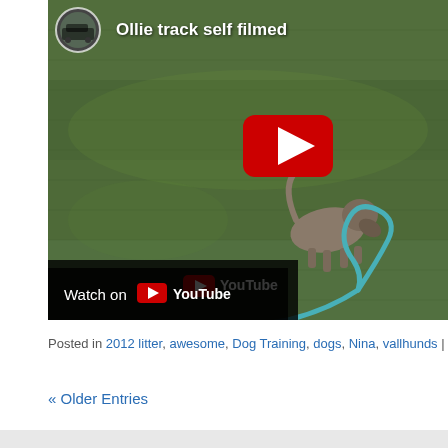[Figure (screenshot): YouTube video embed showing a dog on green grass with a teal leash. Title reads 'Ollie track self filmed'. Channel avatar shown top-left. Red YouTube play button in center. 'Watch on YouTube' bar at bottom-left.]
Posted in 2012 litter, awesome, Dog Training, dogs, Nina, vallhunds |
« Older Entries